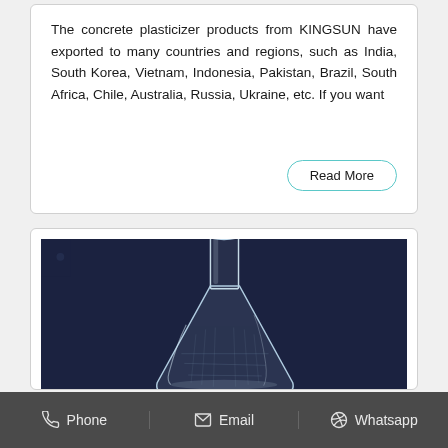The concrete plasticizer products from KINGSUN have exported to many countries and regions, such as India, South Korea, Vietnam, Indonesia, Pakistan, Brazil, South Africa, Chile, Australia, Russia, Ukraine, etc. If you want
[Figure (photo): A clear glass Erlenmeyer flask photographed against a dark navy/black background]
Phone | Email | Whatsapp